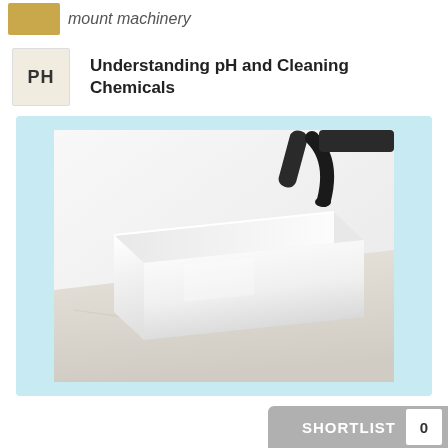mount machinery
Understanding pH and Cleaning Chemicals
[Figure (photo): A white rectangular vessel sink on a marble countertop with a black wall-mounted faucet, shown against a light blue card background]
SHORTLIST 0